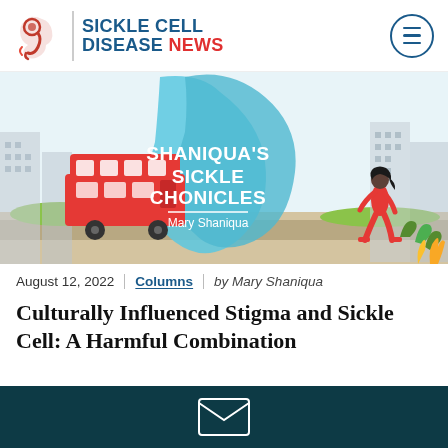SICKLE CELL DISEASE NEWS
[Figure (illustration): Banner image for Shaniqua's Sickle Chronicles column by Mary Shaniqua, showing an illustrated urban scene with a red double-decker bus, a woman running in red athletic wear, city buildings, and a large blue fluid shape in the center with white text reading SHANIQUA'S SICKLE CHONICLES and Mary Shaniqua below a horizontal rule.]
August 12, 2022 | Columns | by Mary Shaniqua
Culturally Influenced Stigma and Sickle Cell: A Harmful Combination